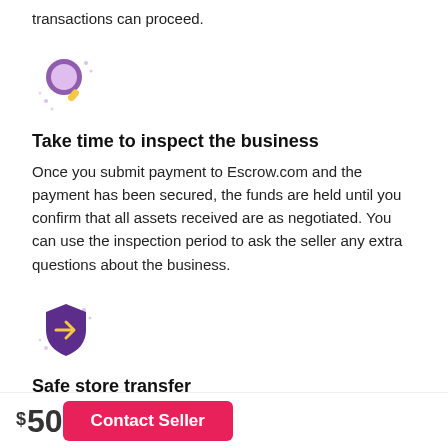transactions can proceed.
[Figure (illustration): Magnifying glass icon with sparkle dots, purple color]
Take time to inspect the business
Once you submit payment to Escrow.com and the payment has been secured, the funds are held until you confirm that all assets received are as negotiated. You can use the inspection period to ask the seller any extra questions about the business.
[Figure (illustration): Shield icon with yellow arrow, purple color, with sparkle dots]
Safe store transfer
When the transaction is finalized, the dedicated migration team at Exchange will begin the process of making you the
$50
Contact Seller